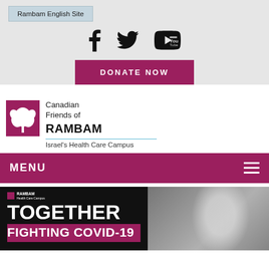Rambam English Site
[Figure (logo): Social media icons: Facebook, Twitter, YouTube]
DONATE NOW
[Figure (logo): Canadian Friends of RAMBAM logo with plant icon. Tagline: Israel's Health Care Campus]
MENU
[Figure (photo): Banner image with text TOGETHER FIGHTING COVID-19 overlaid on a photo of a medical worker in PPE gear in a hospital setting. Small Rambam logo in top left.]